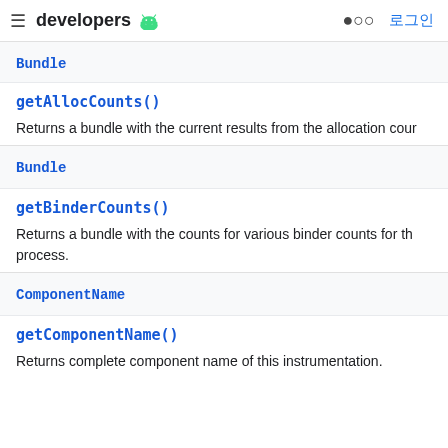developers [android logo] 로그인
Bundle
getAllocCounts()
Returns a bundle with the current results from the allocation cour
Bundle
getBinderCounts()
Returns a bundle with the counts for various binder counts for th process.
ComponentName
getComponentName()
Returns complete component name of this instrumentation.